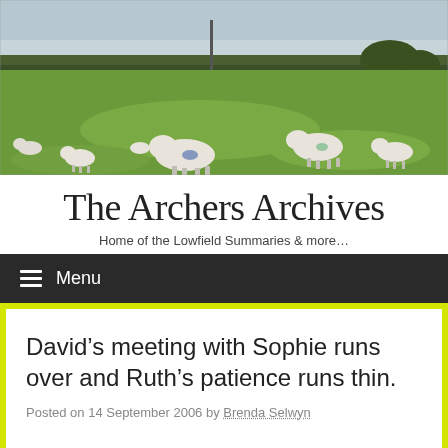[Figure (photo): Panoramic photo of a green field with sheep grazing, hedges and trees in background, overcast sky]
The Archers Archives
Home of the Lowfield Summaries & more…
Menu
David's meeting with Sophie runs over and Ruth's patience runs thin.
Posted on 14 September 2006 by Brenda Selwyn